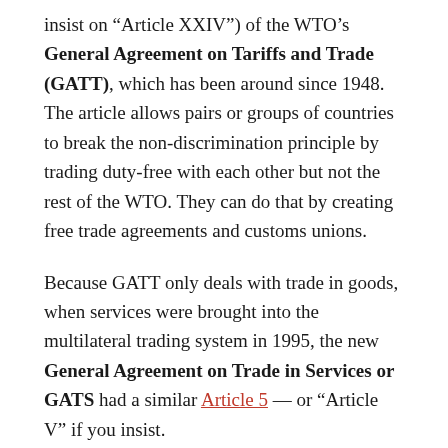insist on “Article XXIV”) of the WTO’s General Agreement on Tariffs and Trade (GATT), which has been around since 1948. The article allows pairs or groups of countries to break the non-discrimination principle by trading duty-free with each other but not the rest of the WTO. They can do that by creating free trade agreements and customs unions.
Because GATT only deals with trade in goods, when services were brought into the multilateral trading system in 1995, the new General Agreement on Trade in Services or GATS had a similar Article 5 — or “Article V” if you insist.
Only the real experts noticed that the GATT article under discussion here is not a new...